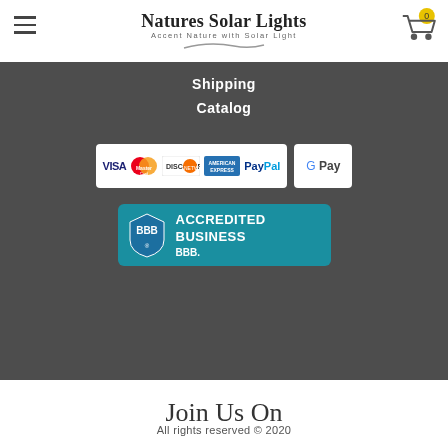Natures Solar Lights — Accent Nature with Solar Light
Shipping
Catalog
[Figure (logo): Payment method logos: VISA, MasterCard, Discover, American Express, PayPal, Google Pay]
[Figure (logo): BBB Accredited Business badge]
Join Us On
All rights reserved © 2020